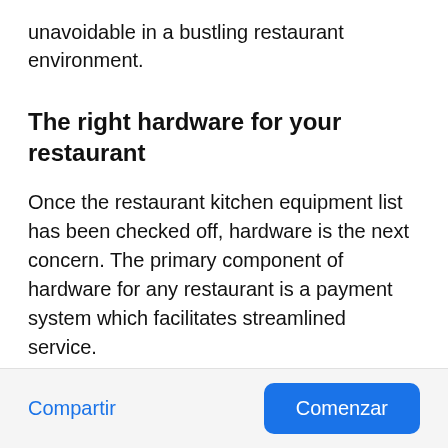unavoidable in a bustling restaurant environment.
The right hardware for your restaurant
Once the restaurant kitchen equipment list has been checked off, hardware is the next concern. The primary component of hardware for any restaurant is a payment system which facilitates streamlined service.
Compartir  Comenzar